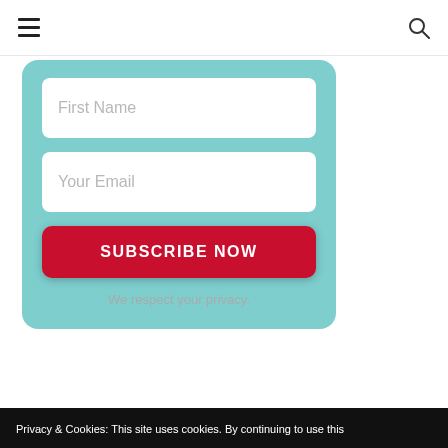[Figure (screenshot): Web form with teal/cyan card background containing a First Name text input field, a Your Email text input field, a red SUBSCRIBE NOW button, and privacy text below.]
Privacy & Cookies: This site uses cookies. By continuing to use this